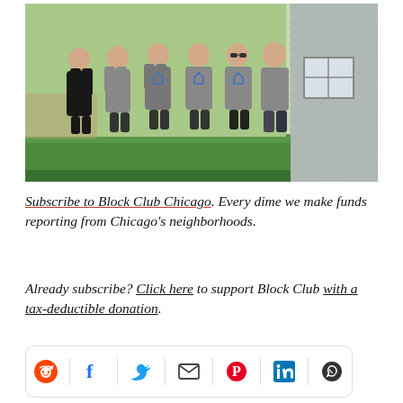[Figure (photo): Group photo of six women standing together outdoors in front of a house, some wearing gray tank tops with a blue house logo, on a green lawn.]
Subscribe to Block Club Chicago. Every dime we make funds reporting from Chicago's neighborhoods.
Already subscribe? Click here to support Block Club with a tax-deductible donation.
[Figure (infographic): Social sharing icon bar with Reddit, Facebook, Twitter, Email, Pinterest, LinkedIn, and WhatsApp icons.]